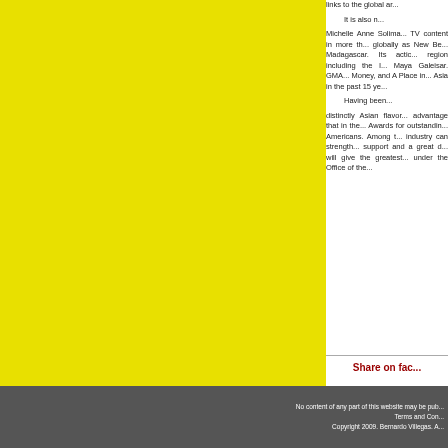[Figure (photo): Large yellow/lime colored rectangular panel on the left side of the page]
links to the global ar... It is also n... Michelle Anne Solima... TV content in more th... globally as New Be... Madagascar. Its actic... region including the I... Maya Galeisar. GMA... Money, and A Place in... Asia in the past 15 ye... Having been... distinctly Asian flavor... advantage that in the... Awards for outstandin... Americans. Among t... industry can strength... support and a great d... will give the greatest... under the Office of the...
Share on fac...
No content of any part of this website may be pub... Terms and Con... Copyright 2009. Bernardo Villegas. A...